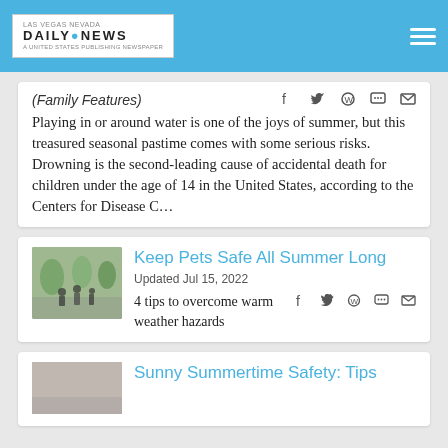Daily News - Las Vegas
(Family Features) Playing in or around water is one of the joys of summer, but this treasured seasonal pastime comes with some serious risks. Drowning is the second-leading cause of accidental death for children under the age of 14 in the United States, according to the Centers for Disease C...
Keep Pets Safe All Summer Long
Updated Jul 15, 2022
4 tips to overcome warm weather hazards
Sunny Summertime Safety: Tips